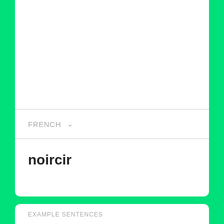FRENCH
noircir
EXAMPLE SENTENCES